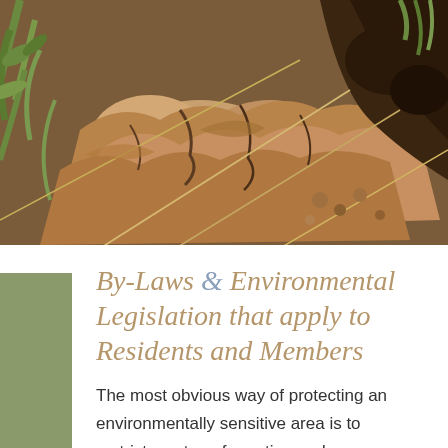[Figure (photo): Close-up photograph of rocky, earthy ground with orange-brown rocks, dark soil, dry grass stems, and green plant foliage visible. Natural outdoor terrain.]
By-Laws & Environmental Legislation that apply to Residents and Members
The most obvious way of protecting an environmentally sensitive area is to restrict any transformation and destruction caused by buildings